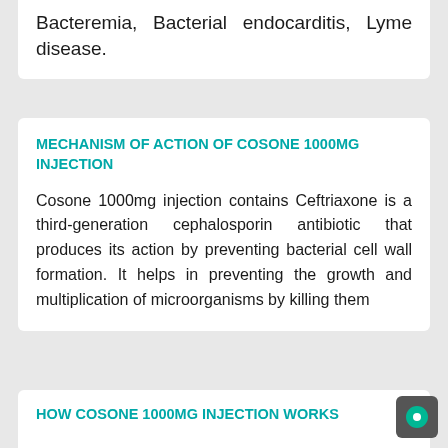Bacteremia, Bacterial endocarditis, Lyme disease.
MECHANISM OF ACTION OF COSONE 1000MG INJECTION
Cosone 1000mg injection contains Ceftriaxone is a third-generation cephalosporin antibiotic that produces its action by preventing bacterial cell wall formation. It helps in preventing the growth and multiplication of microorganisms by killing them
HOW COSONE 1000MG INJECTION WORKS